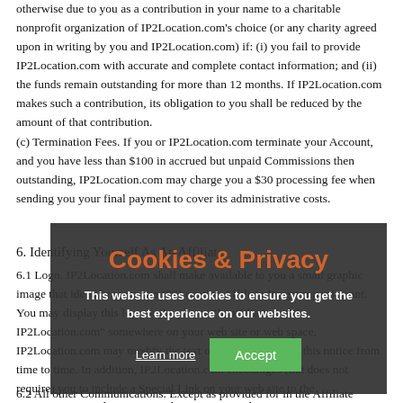otherwise due to you as a contribution in your name to a charitable nonprofit organization of IP2Location.com's choice (or any charity agreed upon in writing by you and IP2Location.com) if: (i) you fail to provide IP2Location.com with accurate and complete contact information; and (ii) the funds remain outstanding for more than 12 months. If IP2Location.com makes such a contribution, its obligation to you shall be reduced by the amount of that contribution.
(c) Termination Fees. If you or IP2Location.com terminate your Account, and you have less than $100 in accrued but unpaid Commissions then outstanding, IP2Location.com may charge you a $30 processing fee when sending you your final payment to cover its administrative costs.
6. Identifying Yourself As An Affiliate
6.1 Logo. IP2Location.com shall make available to you a small graphic image that identifies you as a IP2Location Affiliate Program participant. You may display this logo or the phrase "In affiliation with IP2Location.com" somewhere on your web site or web space. IP2Location.com may modify the text or graphic image of this notice from time to time. In addition, IP2Location.com encourages (but does not require) you to include a Special Link on your web site to the IP2Location.com home page at https://www.ip2location.com.
[Figure (other): Cookie & Privacy consent overlay with dark background, orange title 'Cookies & Privacy', white bold text 'This website uses cookies to ensure you get the best experience on our websites.', a 'Learn more' underlined link and a green 'Accept' button.]
6.2 All other Communications. Except as provided for in the Affiliate